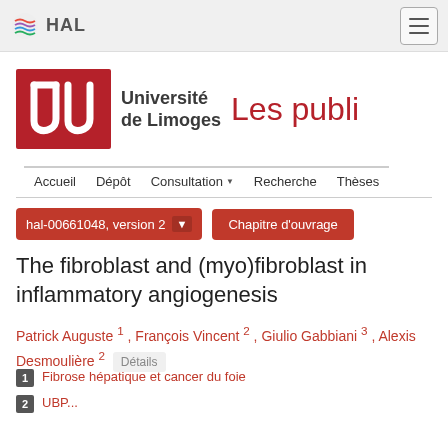HAL
[Figure (logo): Université de Limoges logo with red stylized 'ul' on red background, followed by text 'Université de Limoges' and red text 'Les publi']
Accueil  Dépôt  Consultation  Recherche  Thèses
hal-00661048, version 2  Chapitre d'ouvrage
The fibroblast and (myo)fibroblast in inflammatory angiogenesis
Patrick Auguste 1 , François Vincent 2 , Giulio Gabbiani 3 , Alexis Desmoulière 2  Détails
1  Fibrose hépatique et cancer du foie
2  UBP...